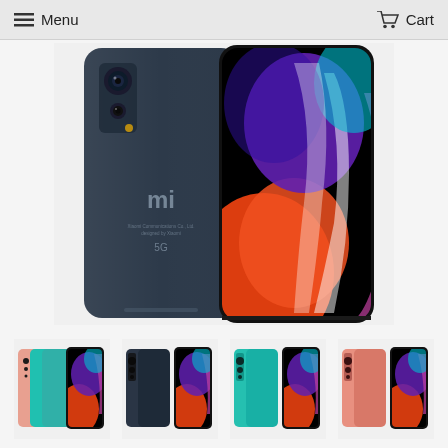Menu  Cart
[Figure (photo): Product image of Xiaomi Mi 5G smartphone showing back (dark blue/gray) and front (colorful abstract wallpaper with orange, purple, pink swirls) views side by side]
[Figure (photo): Thumbnail of Xiaomi Mi 10 in coral/teal color variants showing back and front]
[Figure (photo): Thumbnail of Xiaomi Mi 10 in dark/midnight blue showing back and front]
[Figure (photo): Thumbnail of Xiaomi Mi 10 in teal/green showing back and front]
[Figure (photo): Thumbnail of Xiaomi Mi 10 in coral/pink showing back and front]